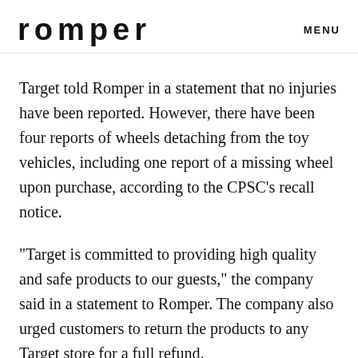romper   MENU
Target told Romper in a statement that no injuries have been reported. However, there have been four reports of wheels detaching from the toy vehicles, including one report of a missing wheel upon purchase, according to the CPSC's recall notice.
"Target is committed to providing high quality and safe products to our guests," the company said in a statement to Romper. The company also urged customers to return the products to any Target store for a full refund.